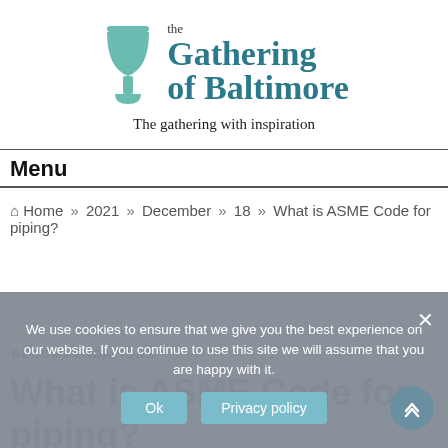[Figure (logo): The Gathering of Baltimore logo with teal chalice icon and text 'the Gathering of Baltimore']
The gathering with inspiration
Menu
Home » 2021 » December » 18 » What is ASME Code for piping?
We use cookies to ensure that we give you the best experience on our website. If you continue to use this site we will assume that you are happy with it.
Ok
Privacy policy
RECOMMENDATIONS
What is ASME Code for piping?